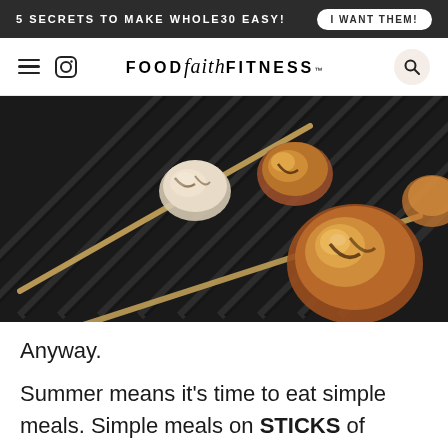5 SECRETS TO MAKE WHOLE30 EASY! I WANT THEM!
FOOD faith FITNESS
[Figure (photo): Close-up photo of shrimp or scallops on wooden skewers grilling on a dark grill, showing golden-brown sear marks against black grill grates]
Anyway.
Summer means it's time to eat simple meals. Simple meals on STICKS of course